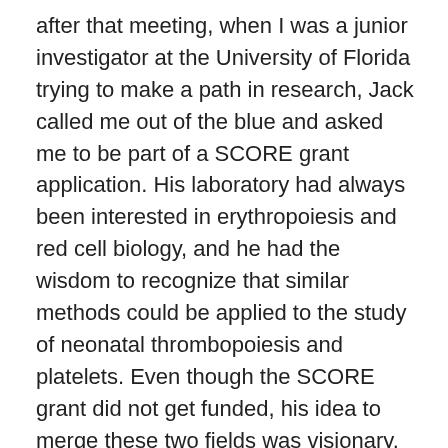after that meeting, when I was a junior investigator at the University of Florida trying to make a path in research, Jack called me out of the blue and asked me to be part of a SCORE grant application. His laboratory had always been interested in erythropoiesis and red cell biology, and he had the wisdom to recognize that similar methods could be applied to the study of neonatal thrombopoiesis and platelets. Even though the SCORE grant did not get funded, his idea to merge these two fields was visionary. He connected me with Peter Veng- Pedersen, PhD, and Donald Mager, PharmD, PhD, to start doing modeling with platelets, and he introduced me to the use of biotin to label cells. These approaches opened new possibilities for my research that continue to this day.
In 2012, Jack invited me to join the BRC as a leader of a